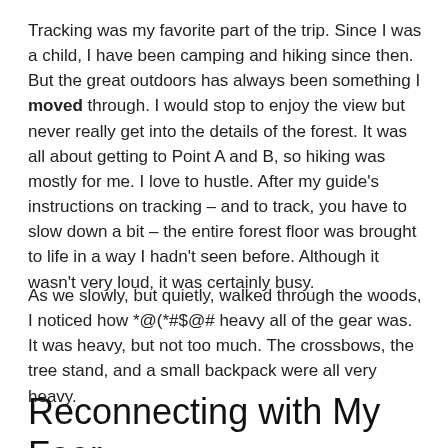Tracking was my favorite part of the trip. Since I was a child, I have been camping and hiking since then. But the great outdoors has always been something I moved through. I would stop to enjoy the view but never really get into the details of the forest. It was all about getting to Point A and B, so hiking was mostly for me. I love to hustle. After my guide's instructions on tracking – and to track, you have to slow down a bit – the entire forest floor was brought to life in a way I hadn't seen before. Although it wasn't very loud, it was certainly busy.
As we slowly, but quietly, walked through the woods, I noticed how *@(*#$@# heavy all of the gear was. It was heavy, but not too much. The crossbows, the tree stand, and a small backpack were all very heavy.
Reconnecting with My Fear